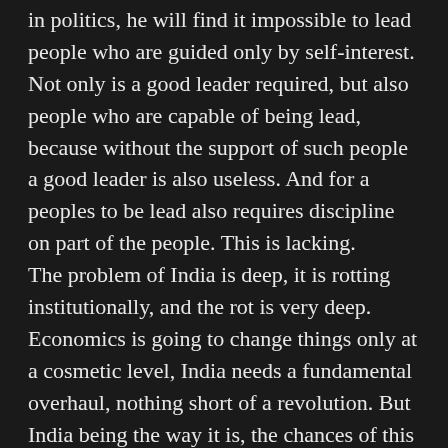in politics, he will find it impossible to lead people who are guided only by self-interest. Not only is a good leader required, but also people who are capable of being lead, because without the support of such people a good leader is also useless. And for a peoples to be lead also requires discipline on part of the people. This is lacking. The problem of India is deep, it is rotting institutionally, and the rot is very deep. Economics is going to change things only at a cosmetic level, India needs a fundamental overhaul, nothing short of a revolution. But India being the way it is, the chances of this happening is slim. Perhaps the bad state of affairs will get to a breaking point that people are forced to wake